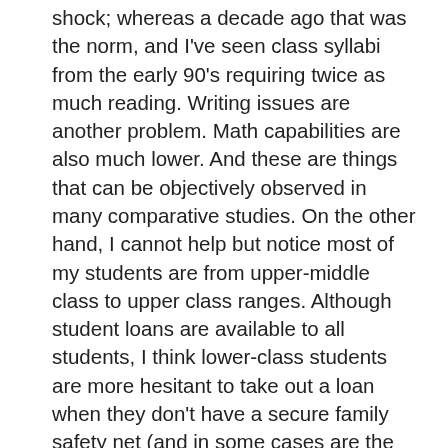shock; whereas a decade ago that was the norm, and I've seen class syllabi from the early 90's requiring twice as much reading. Writing issues are another problem. Math capabilities are also much lower. And these are things that can be objectively observed in many comparative studies. On the other hand, I cannot help but notice most of my students are from upper-middle class to upper class ranges. Although student loans are available to all students, I think lower-class students are more hesitant to take out a loan when they don't have a secure family safety net (and in some cases are the safety nets); whereas students from wealthier students feel more secure in taking on debt because they have family to help them if the payments become too onerous. In this respect, I am not aware if there is an objective study on family income and university populations (let me know if you're is aware of any), but this is my own personal observation. It may be that this is something that was the same in the past.